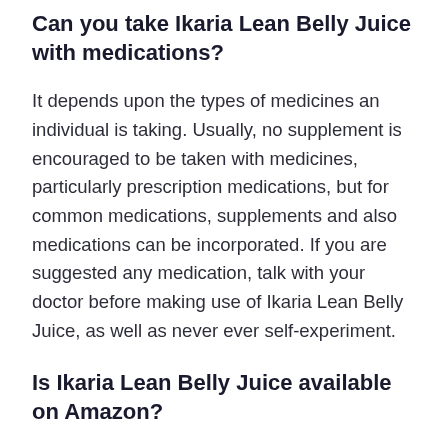Can you take Ikaria Lean Belly Juice with medications?
It depends upon the types of medicines an individual is taking. Usually, no supplement is encouraged to be taken with medicines, particularly prescription medications, but for common medications, supplements and also medications can be incorporated. If you are suggested any medication, talk with your doctor before making use of Ikaria Lean Belly Juice, as well as never ever self-experiment.
Is Ikaria Lean Belly Juice available on Amazon?
Ikaria Lean Belly Juice is not available on Amazon or any other seller. The business advises buying